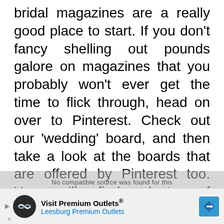bridal magazines are a really good place to start. If you don't fancy shelling out pounds galore on magazines that you probably won't ever get the time to flick through, head on over to Pinterest. Check out our 'wedding' board, and then take a look at the boards that are offered by Pinterest too. You will find plenty of inspirational looks, all based on ones you like, and it's a great way to put together a 'mood board' of sorts, of all the things you love, and would like to
[Figure (other): Semi-transparent grey watermark overlay with text: No compatible source was found for this]
[Figure (other): Advertisement banner for Visit Premium Outlets / Leesburg Premium Outlets with logo icon and directional sign]